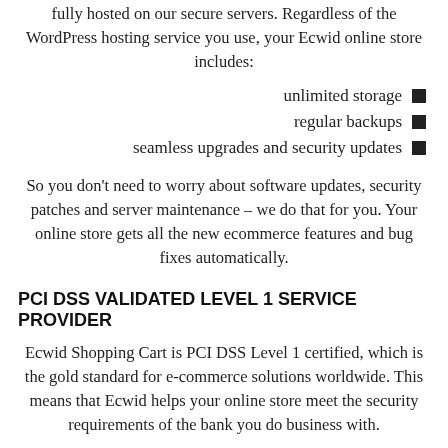fully hosted on our secure servers. Regardless of the WordPress hosting service you use, your Ecwid online store includes:
unlimited storage
regular backups
seamless upgrades and security updates
So you don't need to worry about software updates, security patches and server maintenance – we do that for you. Your online store gets all the new ecommerce features and bug fixes automatically.
PCI DSS VALIDATED LEVEL 1 SERVICE PROVIDER
Ecwid Shopping Cart is PCI DSS Level 1 certified, which is the gold standard for e-commerce solutions worldwide. This means that Ecwid helps your online store meet the security requirements of the bank you do business with.